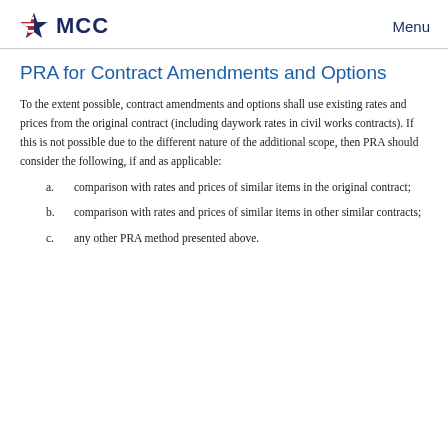MCC   Menu
PRA for Contract Amendments and Options
To the extent possible, contract amendments and options shall use existing rates and prices from the original contract (including daywork rates in civil works contracts). If this is not possible due to the different nature of the additional scope, then PRA should consider the following, if and as applicable:
a. comparison with rates and prices of similar items in the original contract;
b. comparison with rates and prices of similar items in other similar contracts;
c. any other PRA method presented above.